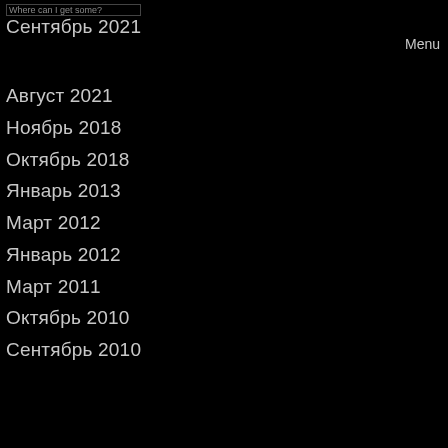Where can I get some? Сентябрь 2021
Menu
Август 2021
Ноябрь 2018
Октябрь 2018
Январь 2013
Март 2012
Январь 2012
Март 2011
Октябрь 2010
Сентябрь 2010